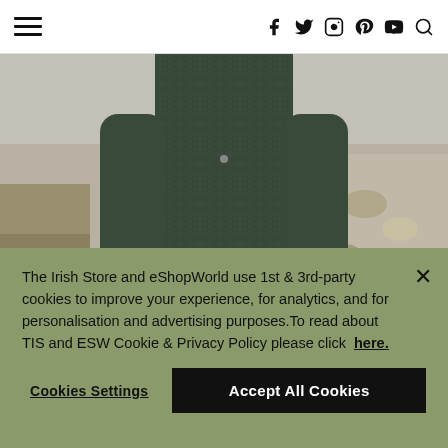Navigation header with hamburger menu and social icons (f, twitter, instagram, pinterest, youtube, search)
[Figure (photo): Person wearing a dark green cable-knit Aran sweater, standing on a rocky beach with hands clasped, lower torso and arms visible, blue jeans visible below sweater]
The Irish Store and eShopWorld use 1st & 3rd-party cookies to improve your experience, for analytics, and for personalisation and advertising purposes.To read about TIS and ESW Cookie & Privacy Policy please click here.
Cookies Settings | Accept All Cookies